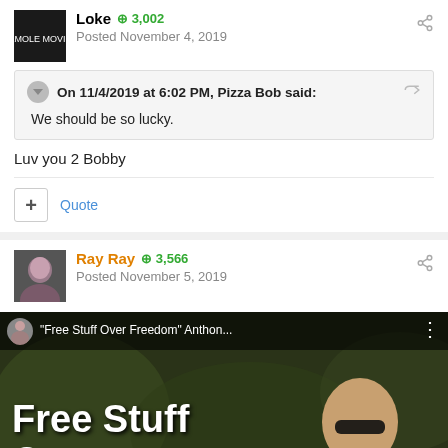Posted November 4, 2019
On 11/4/2019 at 6:02 PM, Pizza Bob said:
We should be so lucky.
Luv you 2 Bobby
Quote
Ray Ray  3,566
Posted November 5, 2019
[Figure (screenshot): YouTube video thumbnail showing 'Free Stuff Over Freedom' Anthony... with large white text 'Free Stuff Over' on a dark background with a man wearing sunglasses, and a YouTube play button overlay.]